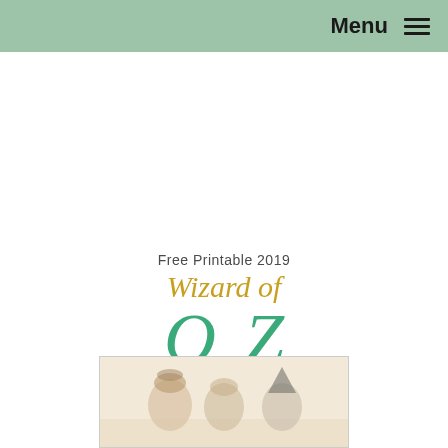Menu ☰
Free Printable 2019 Wizard of OZ One Page Calendar
[Figure (illustration): Wizard of Oz characters illustrated in a soft, whimsical style — partial view of a calendar preview image at the bottom of the page.]